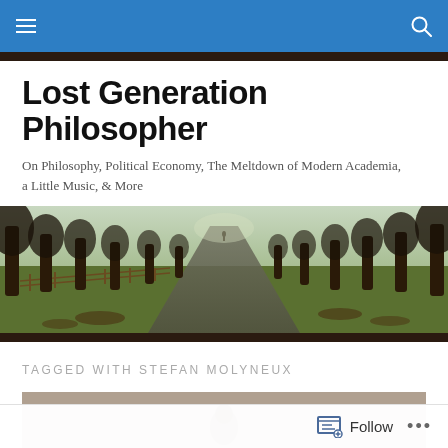Navigation bar with hamburger menu and search icon
Lost Generation Philosopher
On Philosophy, Political Economy, The Meltdown of Modern Academia, a Little Music, & More
[Figure (photo): A tree-lined road or path with large bare trees on both sides, a wooden fence on the left, green grass, receding into the distance where a figure can be seen. Misty/winter daylight scene.]
TAGGED WITH STEFAN MOLYNEUX
[Figure (photo): Partial view of an article thumbnail showing a brownish/gray background with what appears to be a small dark figure or object in the center.]
Follow ...